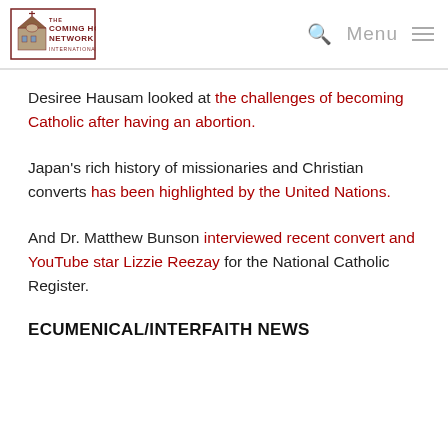The Coming Home Network International — Menu
Desiree Hausam looked at the challenges of becoming Catholic after having an abortion.
Japan's rich history of missionaries and Christian converts has been highlighted by the United Nations.
And Dr. Matthew Bunson interviewed recent convert and YouTube star Lizzie Reezay for the National Catholic Register.
ECUMENICAL/INTERFAITH NEWS